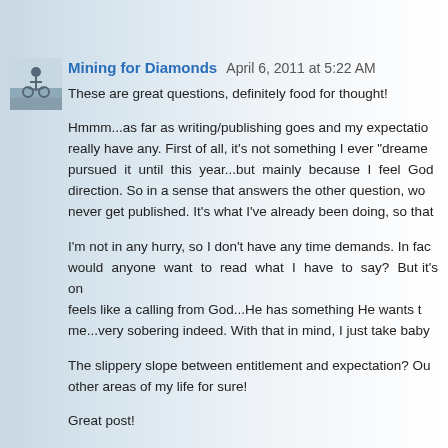[Figure (photo): Small avatar photo, black and white, person with bicycle near water]
Mining for Diamonds  April 6, 2011 at 5:22 AM
These are great questions, definitely food for thought!
Hmmm...as far as writing/publishing goes and my expectatio... really have any. First of all, it's not something I ever "dreame... pursued it until this year...but mainly because I feel God ... direction. So in a sense that answers the other question, wo... never get published. It's what I've already been doing, so that...
I'm not in any hurry, so I don't have any time demands. In fac... would anyone want to read what I have to say? But it's on... feels like a calling from God...He has something He wants t... me...very sobering indeed. With that in mind, I just take baby...
The slippery slope between entitlement and expectation? Ou... other areas of my life for sure!
Great post!
Reply